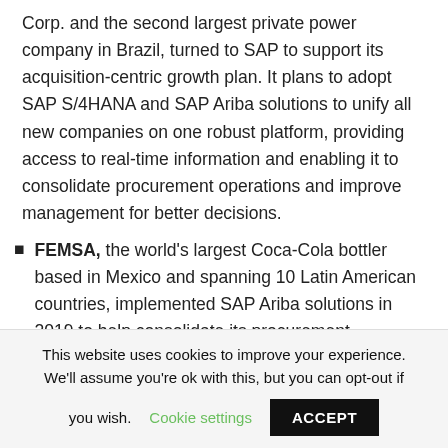Corp. and the second largest private power company in Brazil, turned to SAP to support its acquisition-centric growth plan. It plans to adopt SAP S/4HANA and SAP Ariba solutions to unify all new companies on one robust platform, providing access to real-time information and enabling it to consolidate procurement operations and improve management for better decisions.
FEMSA, the world's largest Coca-Cola bottler based in Mexico and spanning 10 Latin American countries, implemented SAP Ariba solutions in 2019 to help consolidate its procurement
This website uses cookies to improve your experience. We'll assume you're ok with this, but you can opt-out if you wish. Cookie settings ACCEPT